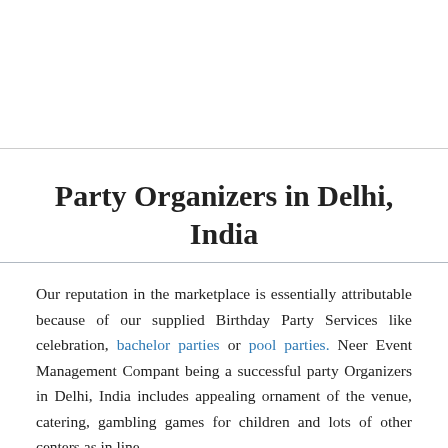Party Organizers in Delhi, India
Our reputation in the marketplace is essentially attributable because of our supplied Birthday Party Services like celebration, bachelor parties or pool parties. Neer Event Management Compant being a successful party Organizers in Delhi, India includes appealing ornament of the venue, catering, gambling games for children and lots of other centers as in line